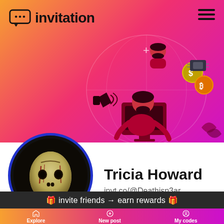[Figure (logo): Invitation app logo with chat bubble icon and text 'invitation']
[Figure (illustration): Marketing illustration of a person at a computer with social/crypto icons, globe, and megaphone on gradient background]
[Figure (photo): Profile avatar showing a horror mask (Jason Voorhees style) inside a circular blue-bordered frame]
Tricia Howard
invt.co/@Deathisn3ar
active 6 months ago
🎁 invite friends → earn rewards 🎁
Explore
New post
My codes